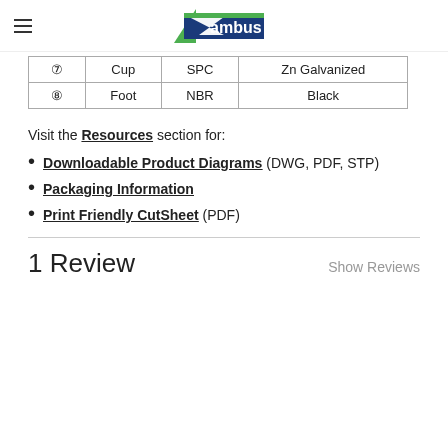Zambus (logo)
| ⑥ | Cup | SPC | Zn Galvanized |
| ⑦ | Foot | NBR | Black |
Visit the Resources section for:
Downloadable Product Diagrams (DWG, PDF, STP)
Packaging Information
Print Friendly CutSheet (PDF)
1 Review
Show Reviews